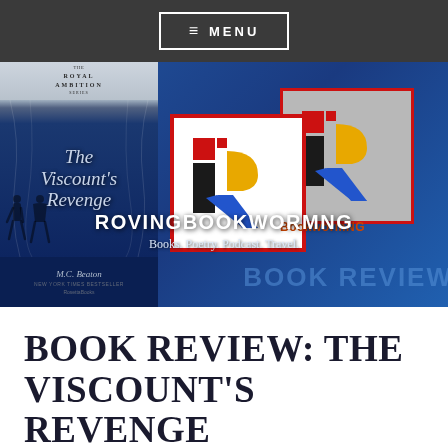≡ MENU
[Figure (screenshot): Website hero banner for RovingBookwormNG blog showing a book cover for 'The Viscount's Revenge' from the Royal Ambition Series by M.C. Beaton, two overlapping logo boxes with a stylized IR/R logo in red, black, yellow and blue colors, site title ROVINGBOOKWORMNG in white bold text, tagline 'Books. Poetry. Podcast. Travel.' and a BOOK REVIEW watermark.]
BOOK REVIEW: THE VISCOUNT'S REVENGE